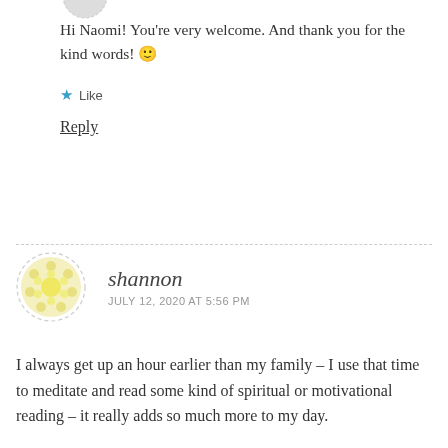Hi Naomi! You're very welcome. And thank you for the kind words! 🙂
★ Like
Reply
shannon
JULY 12, 2020 AT 5:56 PM
I always get up an hour earlier than my family – I use that time to meditate and read some kind of spiritual or motivational reading – it really adds so much more to my day.